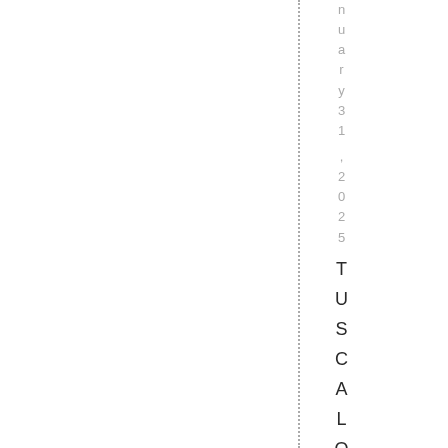January 31, 2025 TUSCALOOSA, Al a. | Uni
[Figure (other): Vertical dotted line running the full height of the page at approximately x=298]